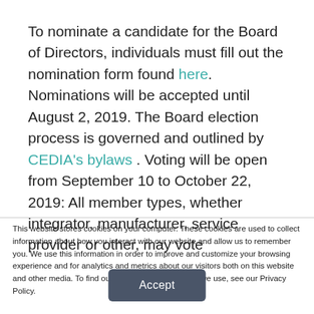To nominate a candidate for the Board of Directors, individuals must fill out the nomination form found here. Nominations will be accepted until August 2, 2019. The Board election process is governed and outlined by CEDIA's bylaws . Voting will be open from September 10 to October 22, 2019: All member types, whether integrator, manufacturer, service provider or other, may vote
This website stores cookies on your computer. These cookies are used to collect information about how you interact with our website and allow us to remember you. We use this information in order to improve and customize your browsing experience and for analytics and metrics about our visitors both on this website and other media. To find out more about the cookies we use, see our Privacy Policy.